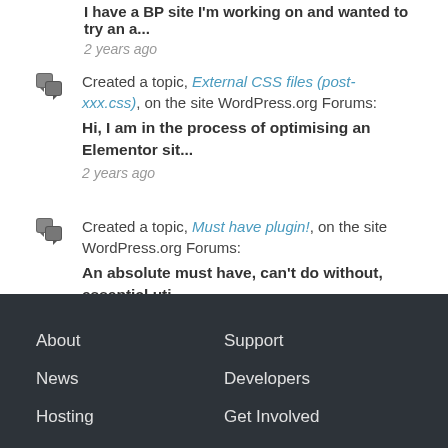Created a topic, External CSS files (post-xxx.css), on the site WordPress.org Forums: Hi, I am in the process of optimising an Elementor sit... 2 years ago
Created a topic, Must have plugin!, on the site WordPress.org Forums: An absolute must have, can't do without, essential uti... 3 years ago
About | News | Hosting | Support | Developers | Get Involved